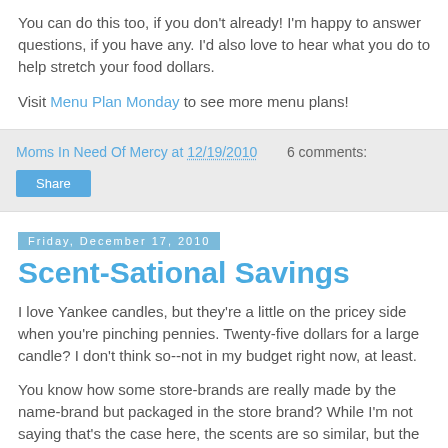You can do this too, if you don't already! I'm happy to answer questions, if you have any. I'd also love to hear what you do to help stretch your food dollars.
Visit Menu Plan Monday to see more menu plans!
Moms In Need Of Mercy at 12/19/2010   6 comments:
Share
Friday, December 17, 2010
Scent-Sational Savings
I love Yankee candles, but they're a little on the pricey side when you're pinching pennies. Twenty-five dollars for a large candle? I don't think so--not in my budget right now, at least.
You know how some store-brands are really made by the name-brand but packaged in the store brand? While I'm not saying that's the case here, the scents are so similar, but the